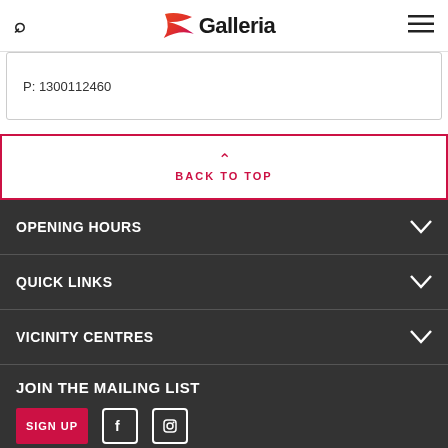Galleria
P: 1300112460
BACK TO TOP
OPENING HOURS
QUICK LINKS
VICINITY CENTRES
JOIN THE MAILING LIST
SIGN UP